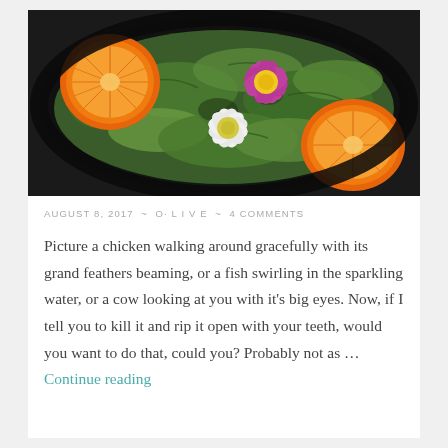[Figure (photo): Overhead view of a salad bowl with green mixed leaves, two halved oranges (one top-left, one bottom-right), a purple/magenta daisy, and a white daisy with yellow centers.]
AUGUST 8, 2017 ~ O· L I V E ~ 4 COMMENTS
Picture a chicken walking around gracefully with its grand feathers beaming, or a fish swirling in the sparkling water, or a cow looking at you with it's big eyes. Now, if I tell you to kill it and rip it open with your teeth, would you want to do that, could you? Probably not as … Continue reading